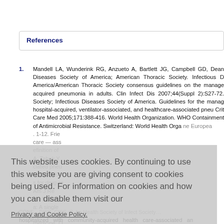References
1. Mandell LA, Wunderink RG, Anzueto A, Bartlett JG, Campbell GD, Dean … Diseases Society of America; American Thoracic Society. Infectious D… America/American Thoracic Society consensus guidelines on the manage… acquired pneumonia in adults. Clin Infect Dis 2007;44(Suppl 2):S27-72… Society; Infectious Diseases Society of America. Guidelines for the manag… hospital-acquired, ventilator-associated, and healthcare-associated pneu… Crit Care Med 2005;171:388-416. World Health Organization. WHO … Containment of Antimicrobial Resistance. Switzerland: World Health Orga… ne European… 1-12. Frie… care — ass… efinition of … A, Tabak Y… ciated pneu… 5;128:3854… s for drug-re… Am J Re… ian N, Koll… a: A single… Falcone M, … medicine. O… hospitalized with community-acquired health care-associated …
This website uses cookies. By continuing to use this website you are giving consent to cookies being used. For information on cookies and how you can disable them visit our Privacy and Cookie Policy.